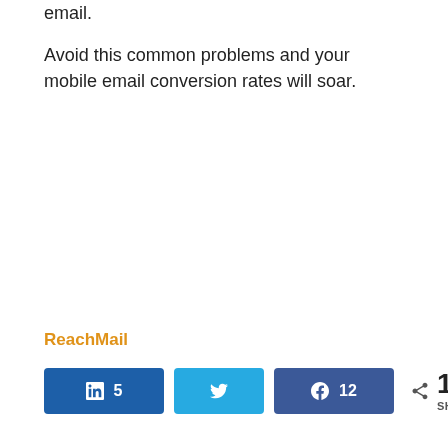email.
Avoid this common problems and your mobile email conversion rates will soar.
ReachMail
in 5  [twitter]  12  < 17 SHARES